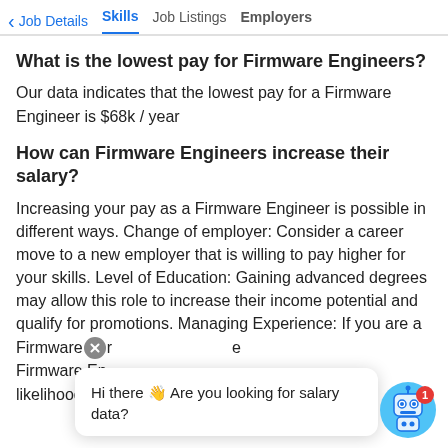< Job Details   Skills   Job Listings   Employers
What is the lowest pay for Firmware Engineers?
Our data indicates that the lowest pay for a Firmware Engineer is $68k / year
How can Firmware Engineers increase their salary?
Increasing your pay as a Firmware Engineer is possible in different ways. Change of employer: Consider a career move to a new employer that is willing to pay higher for your skills. Level of Education: Gaining advanced degrees may allow this role to increase their income potential and qualify for promotions. Managing Experience: If you are a Firmware [Engineer] Firmware En[gineer] [e] likelihood to earn more.
[Figure (screenshot): Chat popup overlay with robot icon saying 'Hi there 👋 Are you looking for salary data?' with a blue robot avatar and red badge showing '1']